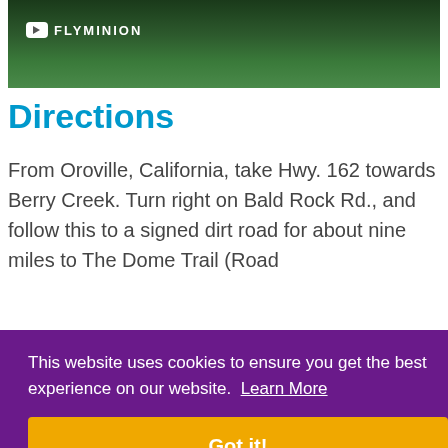[Figure (screenshot): Video thumbnail with YouTube play icon and text FLYMINION over a green nature/water scene]
Directions
From Oroville, California, take Hwy. 162 towards Berry Creek. Turn right on Bald Rock Rd., and follow this to a signed dirt road for about nine miles to The Dome Trail (Road
This website uses cookies to ensure you get the best experience on our website.  Learn More
Got it!